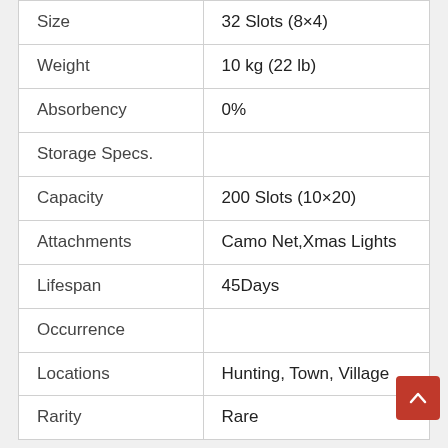| Size | 32 Slots (8×4) |
| Weight | 10 kg (22 lb) |
| Absorbency | 0% |
| Storage Specs. |  |
| Capacity | 200 Slots (10×20) |
| Attachments | Camo Net,Xmas Lights |
| Lifespan | 45Days |
| Occurrence |  |
| Locations | Hunting, Town, Village |
| Rarity | Rare |